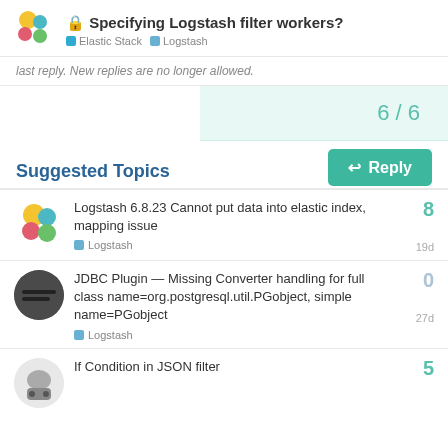🔒 Specifying Logstash filter workers? | Elastic Stack | Logstash
last reply. New replies are no longer allowed.
6 / 6
↩ Reply
Suggested Topics
Logstash 6.8.23 Cannot put data into elastic index, mapping issue | Logstash | 19d | 8
JDBC Plugin — Missing Converter handling for full class name=org.postgresql.util.PGobject, simple name=PGobject | Logstash | 27d | 0
If Condition in JSON filter | 5